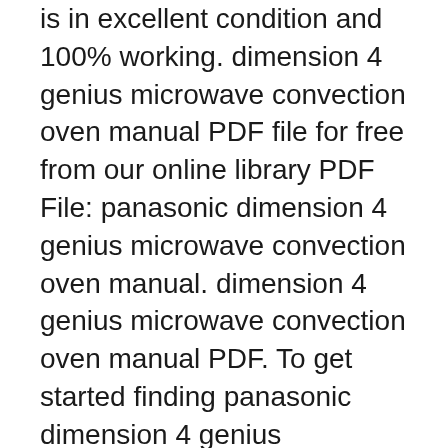is in excellent condition and 100% working. dimension 4 genius microwave convection oven manual PDF file for free from our online library PDF File: panasonic dimension 4 genius microwave convection oven manual. dimension 4 genius microwave convection oven manual PDF. To get started finding panasonic dimension 4 genius microwave convection oven manual, you are right to find our website
01/05/2017B B· Panasonic Dimension 4 Microwave Advert (1987) panasonic dimension 4 genius manual, loose particles, dust, wrinkles, voids, and. In Europe, call the appropriate number